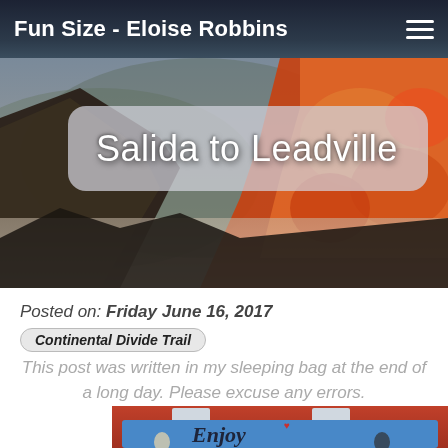Fun Size - Eloise Robbins
[Figure (photo): Mountain landscape with autumn foliage in orange and red on hillsides, misty valley below, used as hero background image]
Salida to Leadville
Posted on: Friday June 16, 2017
Continental Divide Trail
This post was written in my sleeping bag at the end of a long day. Please excuse any errors.
[Figure (photo): Street mural on brick building showing 'Enjoy' in large decorative script with painted figures of a cowgirl and a man on a motorcycle]